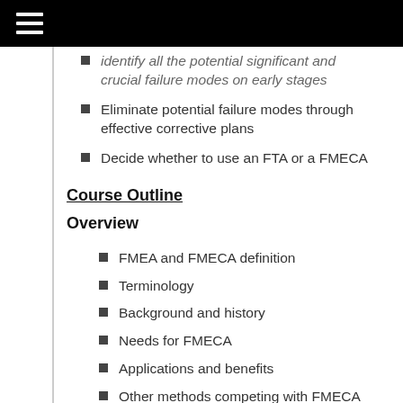identify all the potential significant and crucial failure modes on early stages
Eliminate potential failure modes through effective corrective plans
Decide whether to use an FTA or a FMECA
Course Outline
Overview
FMEA and FMECA definition
Terminology
Background and history
Needs for FMECA
Applications and benefits
Other methods competing with FMECA